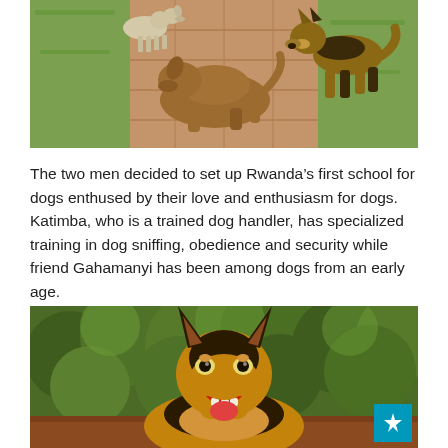[Figure (photo): Three dogs on a brick/stone pathway surrounded by green grass. One brown dog is lying down in the center, one light-colored dog stands in the background left, and a German Shepherd stands on the right.]
The two men decided to set up Rwanda's first school for dogs enthused by their love and enthusiasm for dogs. Katimba, who is a trained dog handler, has specialized training in dog sniffing, obedience and security while friend Gahamanyi has been among dogs from an early age.
[Figure (photo): Close-up of a German Shepherd dog sitting in front of green leafy bushes, looking at the camera with mouth open showing teeth.]